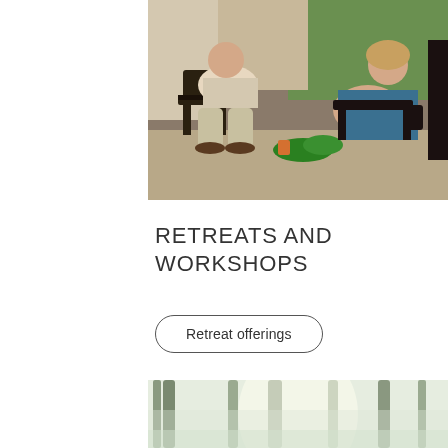[Figure (photo): Two people relaxing on a porch with rocking chairs. One man sits in a rocking chair on the left, another person gestures on the right holding a mug. Green trees visible in background.]
RETREATS AND WORKSHOPS
Retreat offerings
[Figure (photo): Misty forest scene with tall trees and soft light filtering through fog.]